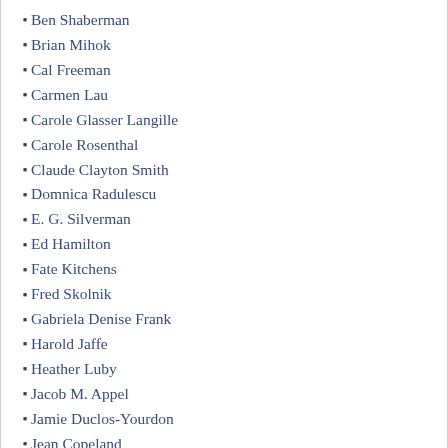Ben Shaberman
Brian Mihok
Cal Freeman
Carmen Lau
Carole Glasser Langille
Carole Rosenthal
Claude Clayton Smith
Domnica Radulescu
E. G. Silverman
Ed Hamilton
Fate Kitchens
Fred Skolnik
Gabriela Denise Frank
Harold Jaffe
Heather Luby
Jacob M. Appel
Jamie Duclos-Yourdon
Jean Copeland
Jen Knox
Jen Michalski
Joachim Frank